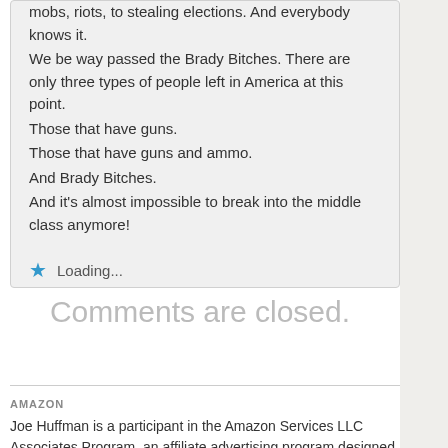mobs, riots, to stealing elections. And everybody knows it.
We be way passed the Brady Bitches. There are only three types of people left in America at this point.
Those that have guns.
Those that have guns and ammo.
And Brady Bitches.
And it's almost impossible to break into the middle class anymore!
Loading...
Comments are closed.
AMAZON
Joe Huffman is a participant in the Amazon Services LLC Associates Program, an affiliate advertising program designed